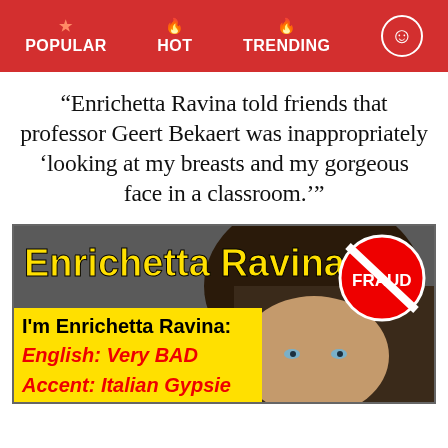POPULAR  HOT  TRENDING
“Enrichetta Ravina told friends that professor Geert Bekaert was inappropriately ‘looking at my breasts and my gorgeous face in a classroom.’”
[Figure (photo): Image card showing Enrichetta Ravina with bold yellow text 'Enrichetta Ravina', a red 'FRAUD' no-sign symbol, and a yellow box with black text 'I’m Enrichetta Ravina:' and red italic text 'English: Very BAD / Accent: Italian Gypsie']